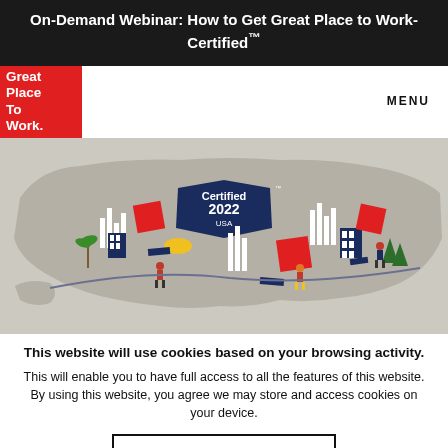On-Demand Webinar: How to Get Great Place to Work-Certified™
[Figure (illustration): Great Place To Work logo (red box, white text) and navigation bar with MENU text on the right, followed by an illustrated map of the USA with stylized buildings, people, trees, red squares, and a central 'Certified 2022 USA' badge]
This website will use cookies based on your browsing activity.
This will enable you to have full access to all the features of this website. By using this website, you agree we may store and access cookies on your device.
I UNDERSTAND